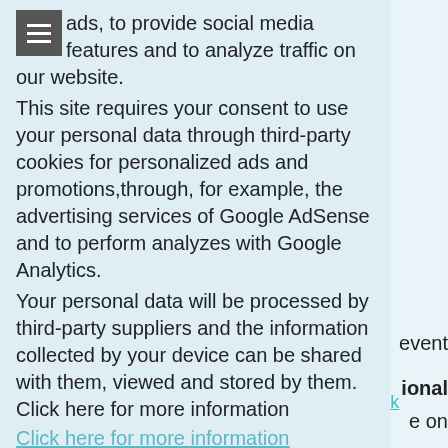ads, to provide social media features and to analyze traffic on our website. This site requires your consent to use your personal data through third-party cookies for personalized ads and promotions,through, for example, the advertising services of Google AdSense and to perform analyzes with Google Analytics. Your personal data will be processed by third-party suppliers and the information collected by your device can be shared with them, viewed and stored by them. Click here for more information
Click here for more information
OK, I accept!
event
ional
e on
dding
Register (if you have not already done) and click here to